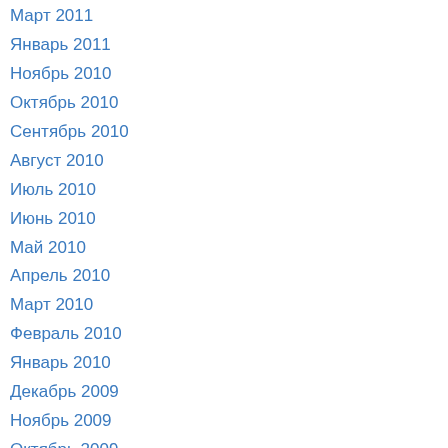Март 2011
Январь 2011
Ноябрь 2010
Октябрь 2010
Сентябрь 2010
Август 2010
Июль 2010
Июнь 2010
Май 2010
Апрель 2010
Март 2010
Февраль 2010
Январь 2010
Декабрь 2009
Ноябрь 2009
Октябрь 2009
Сентябрь 2009